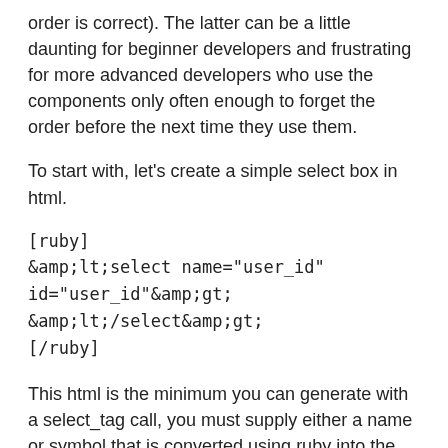order is correct). The latter can be a little daunting for beginner developers and frustrating for more advanced developers who use the components only often enough to forget the order before the next time they use them.
To start with, let's create a simple select box in html.
[ruby]
&amp;lt;select name="user_id"
id="user_id"&amp;gt;
&amp;lt;/select&amp;gt;
[/ruby]
This html is the minimum you can generate with a select_tag call, you must supply either a name or symbol that is converted using ruby into the